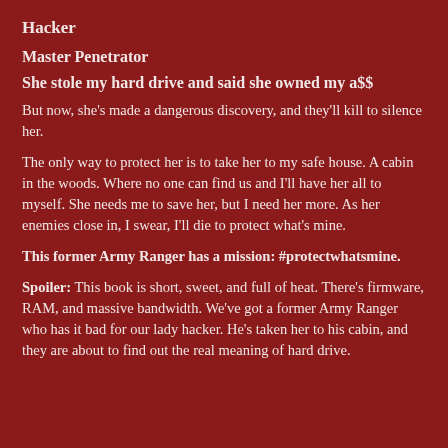Hacker
Master Penetrator
She stole my hard drive and said she owned my a$$
But now, she's made a dangerous discovery, and they'll kill to silence her.
The only way to protect her is to take her to my safe house. A cabin in the woods. Where no one can find us and I'll have her all to myself. She needs me to save her, but I need her more. As her enemies close in, I swear, I'll die to protect what's mine.
This former Army Ranger has a mission: #protectwhatsmine.
Spoiler: This book is short, sweet, and full of heat. There's firmware, RAM, and massive bandwidth. We've got a former Army Ranger who has it bad for our lady hacker. He's taken her to his cabin, and they are about to find out the real meaning of hard drive.